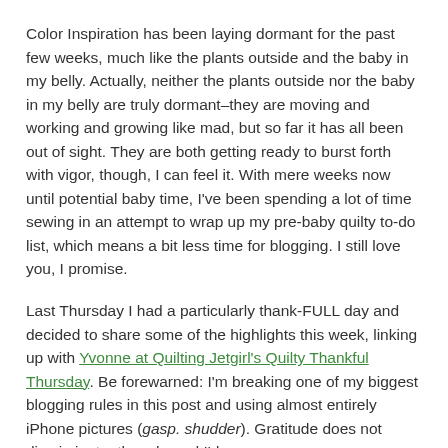Color Inspiration has been laying dormant for the past few weeks, much like the plants outside and the baby in my belly. Actually, neither the plants outside nor the baby in my belly are truly dormant–they are moving and working and growing like mad, but so far it has all been out of sight. They are both getting ready to burst forth with vigor, though, I can feel it. With mere weeks now until potential baby time, I've been spending a lot of time sewing in an attempt to wrap up my pre-baby quilty to-do list, which means a bit less time for blogging. I still love you, I promise.
Last Thursday I had a particularly thank-FULL day and decided to share some of the highlights this week, linking up with Yvonne at Quilting Jetgirl's Quilty Thankful Thursday. Be forewarned: I'm breaking one of my biggest blogging rules in this post and using almost entirely iPhone pictures (gasp. shudder). Gratitude does not discriminate, though, and I'd